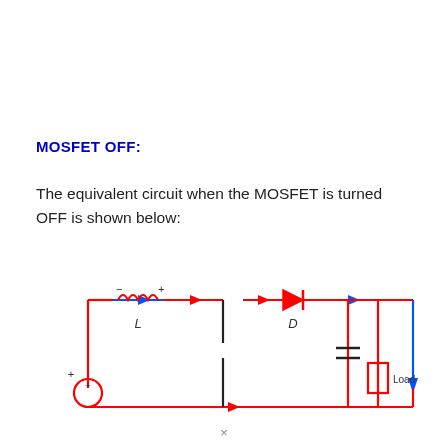MOSFET OFF:
The equivalent circuit when the MOSFET is turned OFF is shown below:
[Figure (circuit-diagram): Equivalent circuit with MOSFET OFF: shows a boost converter circuit with a voltage source (+), inductor L (with − and + polarity labels), open switch (MOSFET off), diode D, capacitor, and Load resistor. Blue arrows indicate current flow direction along the top rail (left to right). Red lines show the current path through the components.]